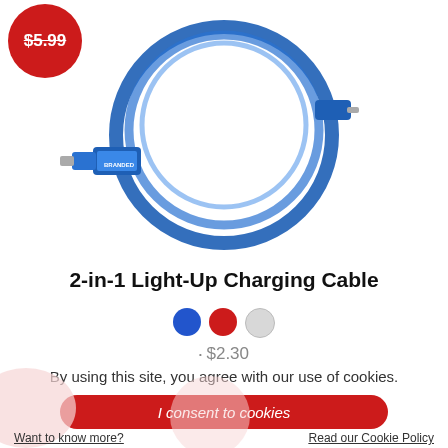[Figure (photo): Product photo of a blue 2-in-1 Light-Up Charging Cable coiled in a circle with USB-A and lightning connector ends, with a red circular price badge showing '$5.99' with strikethrough in the top left]
2-in-1 Light-Up Charging Cable
[Figure (other): Three color swatches: blue, red, and light gray]
$2.30
By using this site, you agree with our use of cookies.
I consent to cookies
Want to know more?
Read our Cookie Policy